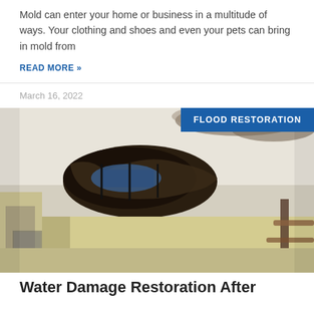Mold can enter your home or business in a multitude of ways. Your clothing and shoes and even your pets can bring in mold from
READ MORE »
March 16, 2022
[Figure (photo): A damaged room ceiling with a large hole exposing insulation and structural elements, with visible mold/water damage stains spreading across the white ceiling. The walls are pale yellow. A dark staircase railing is visible on the right. The image has a 'FLOOD RESTORATION' badge overlaid in blue in the upper right corner.]
Water Damage Restoration After